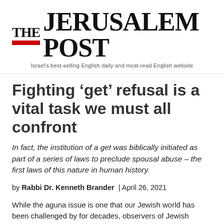[Figure (logo): The Jerusalem Post newspaper logo with red bar accent and subtitle 'Israel's best-selling English daily and most-read English website']
Fighting ‘get’ refusal is a vital task we must all confront
In fact, the institution of a get was biblically initiated as part of a series of laws to preclude spousal abuse – the first laws of this nature in human history.
by Rabbi Dr. Kenneth Brander | April 26, 2021
While the aguna issue is one that our Jewish world has been challenged by for decades, observers of Jewish